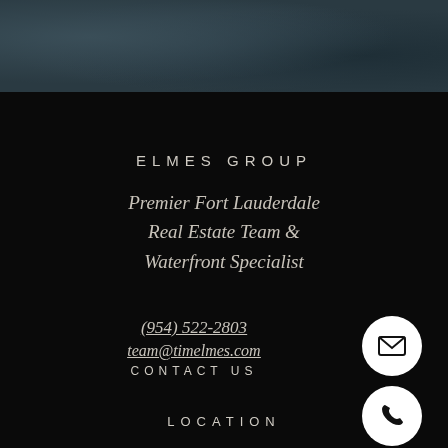[Figure (photo): Dark teal/slate textured background at top of page, resembling stone or fabric texture]
ELMES GROUP
Premier Fort Lauderdale Real Estate Team & Waterfront Specialist
(954) 522-2803
team@timelmes.com
CONTACT US
[Figure (illustration): White circle with black envelope/mail icon]
[Figure (illustration): White circle with black phone/handset icon]
LOCATION